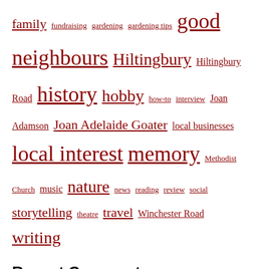family fundraising gardening gardening tips good neighbours Hiltingbury Hiltingbury Road history hobby how-to interview Joan Adamson Joan Adelaide Goater local businesses local interest memory Methodist Church music nature news reading review social storytelling theatre travel Winchester Road writing
Recent Comments
Christine Lassam on August Gardening Tips by Wellie
Allison Symes on Short Form Writing
Mike Sedgwick on Short Form Writing